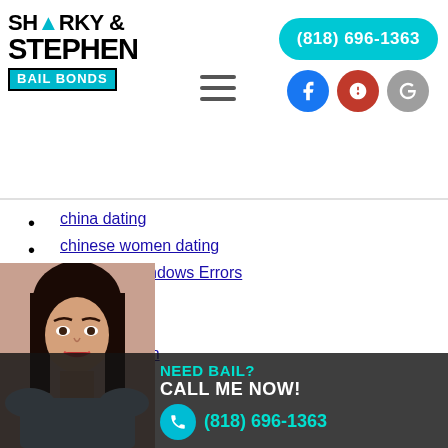Sharky & Stephen Bail Bonds | (818) 696-1363
china dating
chinese women dating
Common Windows Errors
dating sites
Dating Tips
dating women
Extentions Finder
filipino women
First Date Compliments
Foreign Brides
hookup dating sites
Hookup Guide
hookup online
hookup sites that work
hookup websites
japanese women
match.com review
mail order brides
match.com
[Figure (photo): Woman with dark hair, bail bonds advertisement overlay with NEED BAIL? CALL ME NOW! (818) 696-1363]